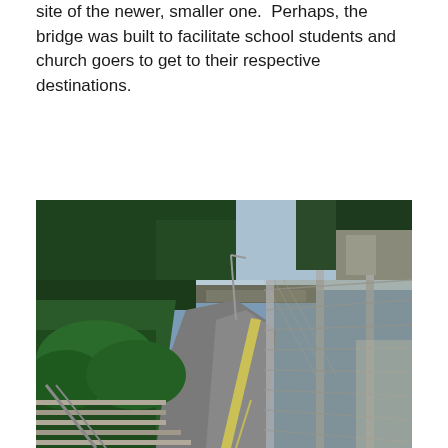site of the newer, smaller one.  Perhaps, the bridge was built to facilitate school students and church goers to get to their respective destinations.
[Figure (photo): Aerial view looking down a curved road with a chain-link fence on the right side, trees and vegetation on the left, stairs in the foreground leading down, and urban buildings visible in the background.]